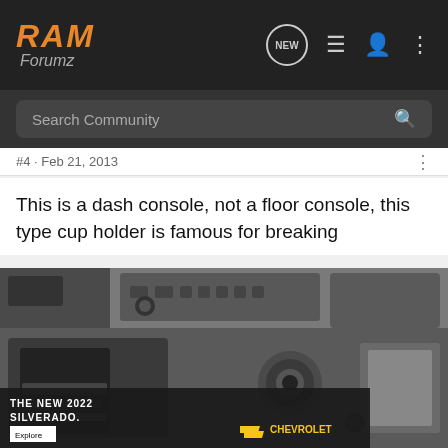RAM Forumz
Search Community
#4 · Feb 21, 2013
This is a dash console, not a floor console, this type cup holder is famous for breaking
[Figure (photo): Interior photo of a truck dash console showing a broken or open cup holder area, center console controls including radio buttons and knobs, and a partially visible seat. An advertisement overlay at the bottom reads THE NEW 2022 SILVERADO. CHEVROLET with an Explore button.]